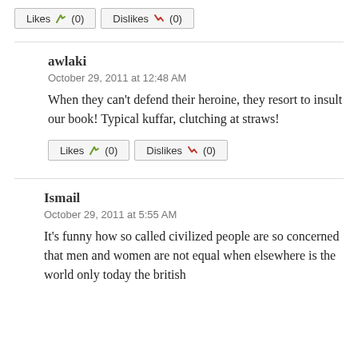[Figure (other): Likes (0) and Dislikes (0) buttons with thumbs icons]
awlaki
October 29, 2011 at 12:48 AM
When they can't defend their heroine, they resort to insult our book! Typical kuffar, clutching at straws!
[Figure (other): Likes (0) and Dislikes (0) buttons with thumbs icons]
Ismail
October 29, 2011 at 5:55 AM
It's funny how so called civilized people are so concerned that men and women are not equal when elsewhere is the world only today the british